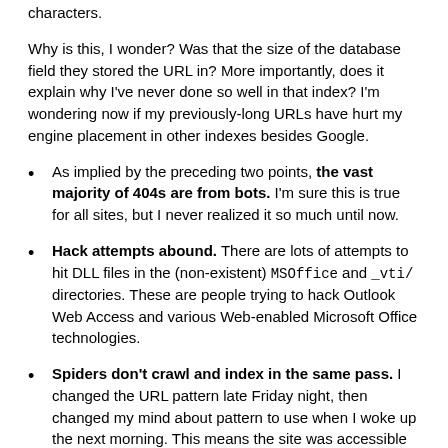characters.
Why is this, I wonder? Was that the size of the database field they stored the URL in? More importantly, does it explain why I've never done so well in that index? I'm wondering now if my previously-long URLs have hurt my engine placement in other indexes besides Google.
As implied by the preceding two points, the vast majority of 404s are from bots. I'm sure this is true for all sites, but I never realized it so much until now.
Hack attempts abound. There are lots of attempts to hit DLL files in the (non-existent) MSOffice and _vti/ directories. These are people trying to hack Outlook Web Access and various Web-enabled Microsoft Office technologies.
Spiders don't crawl and index in the same pass. I changed the URL pattern late Friday night, then changed my mind about pattern to use when I woke up the next morning. This means the site was accessible under a certain pattern for about eight hours.